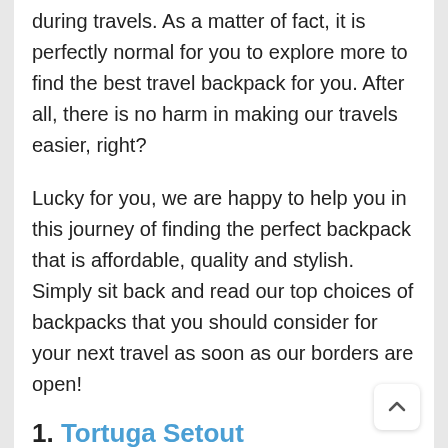during travels. As a matter of fact, it is perfectly normal for you to explore more to find the best travel backpack for you. After all, there is no harm in making our travels easier, right?
Lucky for you, we are happy to help you in this journey of finding the perfect backpack that is affordable, quality and stylish. Simply sit back and read our top choices of backpacks that you should consider for your next travel as soon as our borders are open!
1. Tortuga Setout